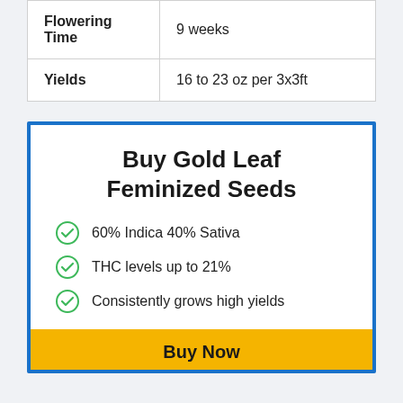| Flowering Time | 9 weeks |
| Yields | 16 to 23 oz per 3x3ft |
Buy Gold Leaf Feminized Seeds
60% Indica 40% Sativa
THC levels up to 21%
Consistently grows high yields